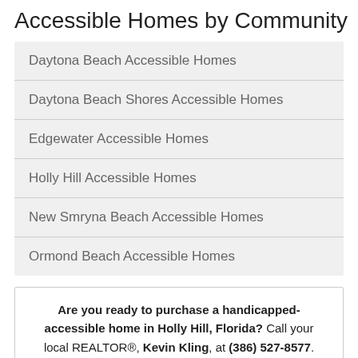Accessible Homes by Community
Daytona Beach Accessible Homes
Daytona Beach Shores Accessible Homes
Edgewater Accessible Homes
Holly Hill Accessible Homes
New Smryna Beach Accessible Homes
Ormond Beach Accessible Homes
Are you ready to purchase a handicapped-accessible home in Holly Hill, Florida? Call your local REALTOR®, Kevin Kling, at (386) 527-8577. He's well-versed in the Holly Hill accessibility real estate market.
Holly Hill Accessible Home Search